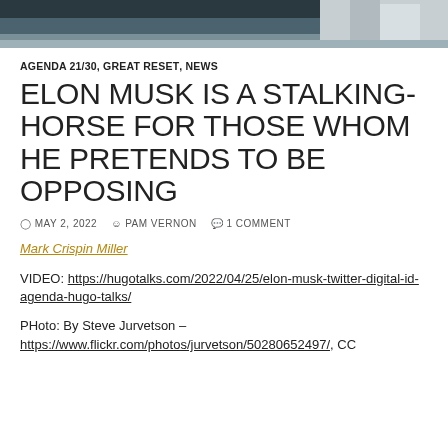[Figure (photo): Partial photo strip at top of page, showing a dark/industrial background, cropped]
AGENDA 21/30, GREAT RESET, NEWS
ELON MUSK IS A STALKING-HORSE FOR THOSE WHOM HE PRETENDS TO BE OPPOSING
MAY 2, 2022  PAM VERNON  1 COMMENT
Mark Crispin Miller
VIDEO: https://hugotalks.com/2022/04/25/elon-musk-twitter-digital-id-agenda-hugo-talks/
PHoto: By Steve Jurvetson – https://www.flickr.com/photos/jurvetson/50280652497/, CC